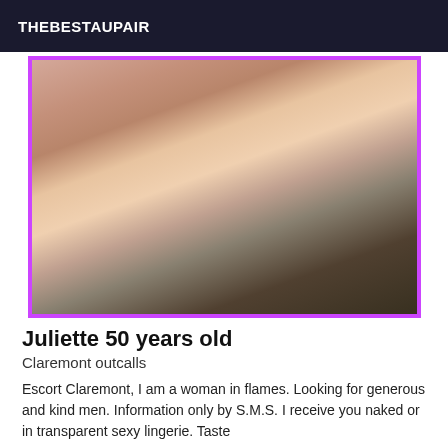THEBESTAUPAIR
[Figure (photo): Photo of a woman in black lingerie]
Juliette 50 years old
Claremont outcalls
Escort Claremont, I am a woman in flames. Looking for generous and kind men. Information only by S.M.S. I receive you naked or in transparent sexy lingerie. Taste